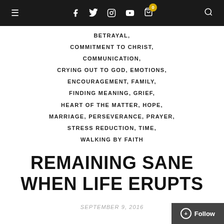Navigation bar with hamburger menu, social icons (Facebook, Twitter, Instagram, YouTube), cart with badge 0, and search icon
BETRAYAL,
COMMITMENT TO CHRIST,
COMMUNICATION,
CRYING OUT TO GOD, EMOTIONS,
ENCOURAGEMENT, FAMILY,
FINDING MEANING, GRIEF,
HEART OF THE MATTER, HOPE,
MARRIAGE, PERSEVERANCE, PRAYER,
STRESS REDUCTION, TIME,
WALKING BY FAITH
REMAINING SANE WHEN LIFE ERUPTS
SEPTEMBER 9, 2016